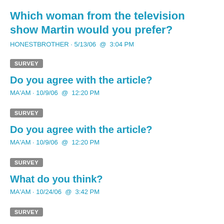Which woman from the television show Martin would you prefer?
HONESTBROTHER · 5/13/06  @  3:04 PM
SURVEY
Do you agree with the article?
MA'AM · 10/9/06  @  12:20 PM
SURVEY
Do you agree with the article?
MA'AM · 10/9/06  @  12:20 PM
SURVEY
What do you think?
MA'AM · 10/24/06  @  3:42 PM
SURVEY